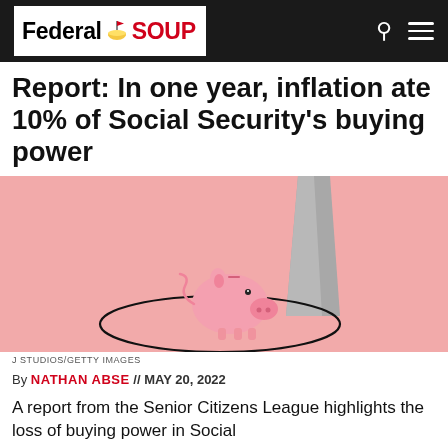FederalSOUP
Report: In one year, inflation ate 10% of Social Security's buying power
[Figure (photo): Pink piggy bank on a pink background with a grey wedge/wall shape behind it and a circular black line drawn around it on the surface, illustrating loss of savings or buying power.]
J STUDIOS/GETTY IMAGES
By NATHAN ABSE // MAY 20, 2022
A report from the Senior Citizens League highlights the loss of buying power in Social